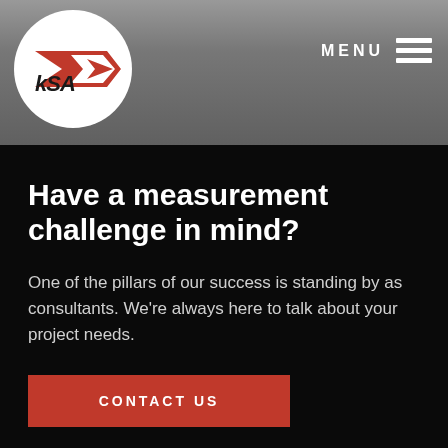kSA | MENU
[Figure (logo): kSA company logo — white circle with red chevron/arrow and italic 'kSA' text in black]
Have a measurement challenge in mind?
One of the pillars of our success is standing by as consultants. We’re always here to talk about your project needs.
CONTACT US